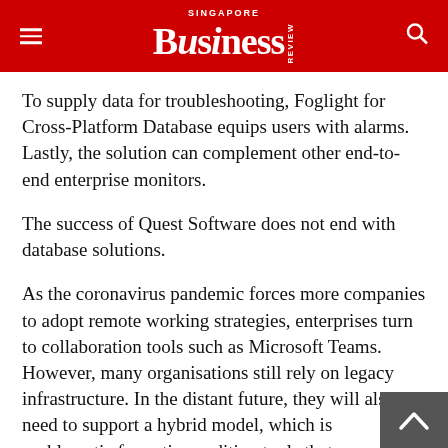SINGAPORE BUSINESS REVIEW
To supply data for troubleshooting, Foglight for Cross-Platform Database equips users with alarms. Lastly, the solution can complement other end-to-end enterprise monitors.
The success of Quest Software does not end with database solutions.
As the coronavirus pandemic forces more companies to adopt remote working strategies, enterprises turn to collaboration tools such as Microsoft Teams. However, many organisations still rely on legacy infrastructure. In the distant future, they will also need to support a hybrid model, which is problematic for native auditing tools that are